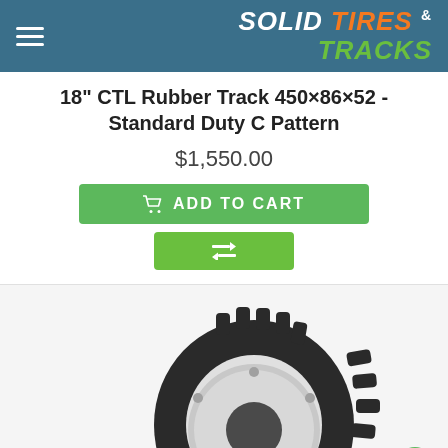Solid Tires & Tracks
18" CTL Rubber Track 450×86×52 - Standard Duty C Pattern
$1,550.00
[Figure (screenshot): Add to Cart green button with shopping cart icon]
[Figure (screenshot): Compare button with exchange icon]
[Figure (photo): Photo of an 18 inch CTL rubber track with C pattern tread and metal hub]